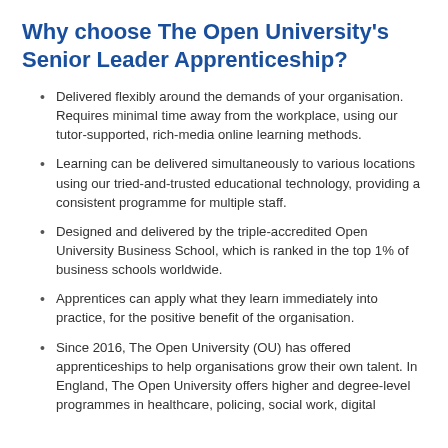Why choose The Open University's Senior Leader Apprenticeship?
Delivered flexibly around the demands of your organisation. Requires minimal time away from the workplace, using our tutor-supported, rich-media online learning methods.
Learning can be delivered simultaneously to various locations using our tried-and-trusted educational technology, providing a consistent programme for multiple staff.
Designed and delivered by the triple-accredited Open University Business School, which is ranked in the top 1% of business schools worldwide.
Apprentices can apply what they learn immediately into practice, for the positive benefit of the organisation.
Since 2016, The Open University (OU) has offered apprenticeships to help organisations grow their own talent. In England, The Open University offers higher and degree-level programmes in healthcare, policing, social work, digital